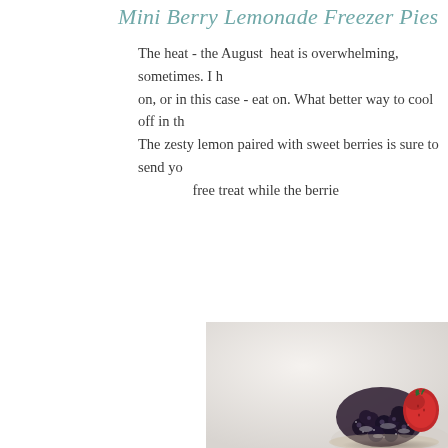Mini Berry Lemonade Freezer Pies
The heat - the August heat is overwhelming, sometimes. I h on, or in this case - eat on. What better way to cool off in th The zesty lemon paired with sweet berries is sure to send yo free treat while the berrie
[Figure (photo): Close-up photo of a mini berry lemonade freezer pie topped with fresh berries including strawberries and blueberries dusted with powdered sugar, on a light gray/white background]